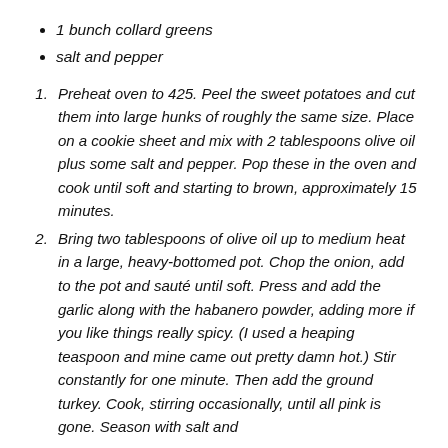1 bunch collard greens
salt and pepper
Preheat oven to 425. Peel the sweet potatoes and cut them into large hunks of roughly the same size. Place on a cookie sheet and mix with 2 tablespoons olive oil plus some salt and pepper. Pop these in the oven and cook until soft and starting to brown, approximately 15 minutes.
Bring two tablespoons of olive oil up to medium heat in a large, heavy-bottomed pot. Chop the onion, add to the pot and sauté until soft. Press and add the garlic along with the habanero powder, adding more if you like things really spicy. (I used a heaping teaspoon and mine came out pretty damn hot.) Stir constantly for one minute. Then add the ground turkey. Cook, stirring occasionally, until all pink is gone. Season with salt and